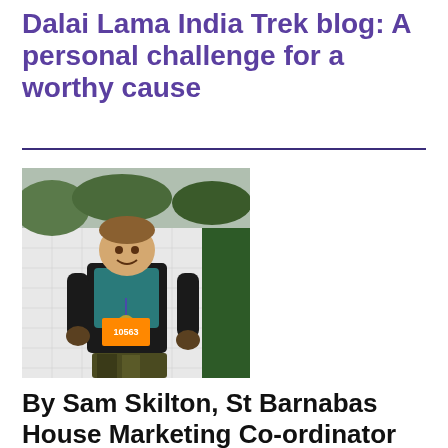Dalai Lama India Trek blog: A personal challenge for a worthy cause
[Figure (photo): A person wearing muddy outdoor gear and a medal, standing in front of a branded event backdrop with flags, appearing to have completed a mud run or obstacle course event.]
By Sam Skilton, St Barnabas House Marketing Co-ordinator